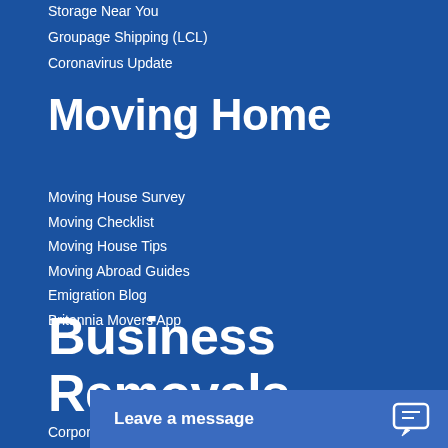Storage Near You
Groupage Shipping (LCL)
Coronavirus Update
Moving Home
Moving House Survey
Moving Checklist
Moving House Tips
Moving Abroad Guides
Emigration Blog
Britannia Movers App
Business Removals
Corporate Rem...
Business Stora...
Leave a message